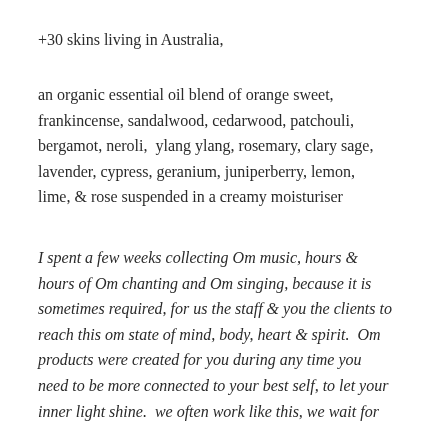+30 skins living in Australia,
an organic essential oil blend of orange sweet, frankincense, sandalwood, cedarwood, patchouli, bergamot, neroli,  ylang ylang, rosemary, clary sage, lavender, cypress, geranium, juniperberry, lemon, lime, & rose suspended in a creamy moisturiser
I spent a few weeks collecting Om music, hours & hours of Om chanting and Om singing, because it is sometimes required, for us the staff & you the clients to reach this om state of mind, body, heart & spirit.  Om products were created for you during any time you need to be more connected to your best self, to let your inner light shine.  we often work like this, we wait for